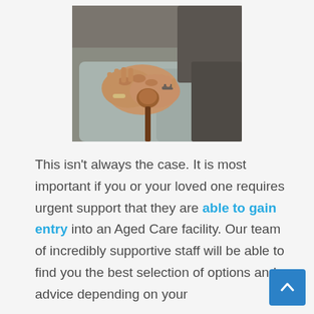[Figure (photo): Close-up photo of elderly person's hands resting on lap, holding a wooden walking cane, wearing a bracelet, seated on a grey couch.]
This isn't always the case. It is most important if you or your loved one requires urgent support that they are able to gain entry into an Aged Care facility. Our team of incredibly supportive staff will be able to find you the best selection of options and advice depending on your